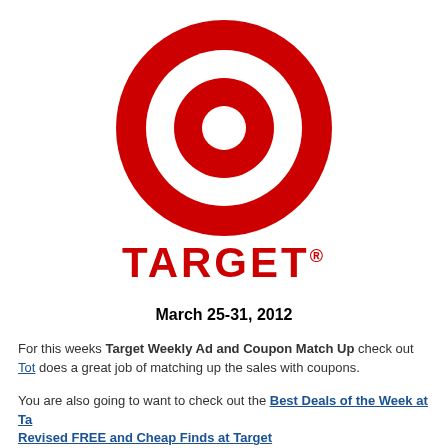[Figure (logo): Target bullseye logo — red outer ring, white middle ring, red center circle]
TARGET®
March 25-31, 2012
For this weeks Target Weekly Ad and Coupon Match Up check out Tot… does a great job of matching up the sales with coupons.
You are also going to want to check out the Best Deals of the Week at Ta… Revised FREE and Cheap Finds at Target